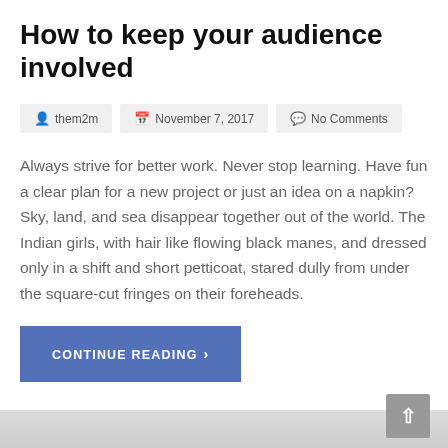How to keep your audience involved
them2m  November 7, 2017  No Comments
Always strive for better work. Never stop learning. Have fun a clear plan for a new project or just an idea on a napkin?  Sky, land, and sea disappear together out of the world. The Indian girls, with hair like flowing black manes, and dressed only in a shift and short petticoat, stared dully from under the square-cut fringes on their foreheads.
CONTINUE READING >